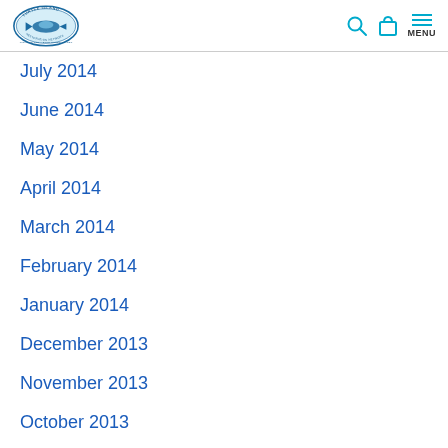Turtle Island Restoration Network — navigation header with logo, search, bag, and menu icons
July 2014
June 2014
May 2014
April 2014
March 2014
February 2014
January 2014
December 2013
November 2013
October 2013
September 2013